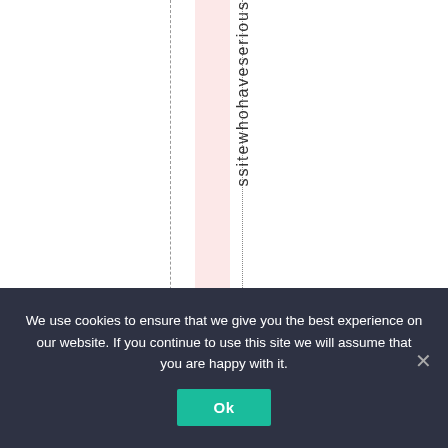[Figure (other): White page area with a dashed vertical line, a pink highlighted column, a dotted vertical line, and rotated vertical text reading 'ssitewhohaveserious']
We use cookies to ensure that we give you the best experience on our website. If you continue to use this site we will assume that you are happy with it.
Ok